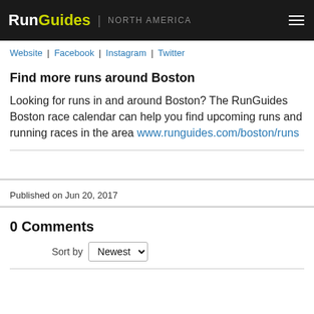RunGuides | NORTH AMERICA
Website | Facebook | Instagram | Twitter
Find more runs around Boston
Looking for runs in and around Boston? The RunGuides Boston race calendar can help you find upcoming runs and running races in the area www.runguides.com/boston/runs
Published on Jun 20, 2017
0 Comments
Sort by Newest